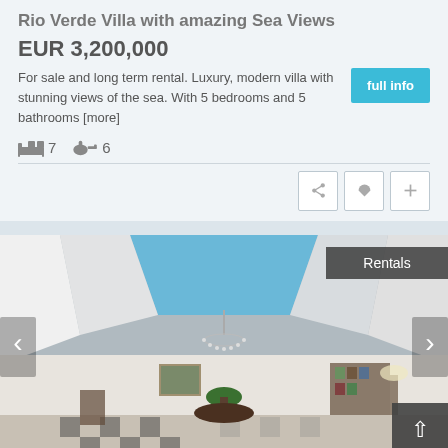Rio Verde Villa with amazing Sea Views
EUR 3,200,000
For sale and long term rental. Luxury, modern villa with stunning views of the sea. With 5 bedrooms and 5 bathrooms [more]
7 bedrooms, 6 bathrooms, full info button
[Figure (photo): Interior of a luxury villa showing a large open living room with a glass skylight ceiling, chandelier, marble floors, tropical plants, and artwork on walls. Navigation arrows on sides. 'Rentals' badge top right.]